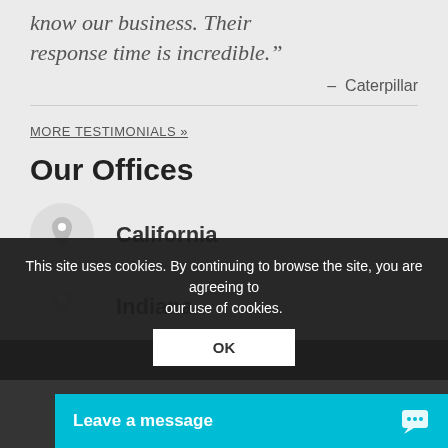know our business. Their response time is incredible.”
–  Caterpillar
MORE TESTIMONIALS »
Our Offices
California
Indiana
This site uses cookies. By continuing to browse the site, you are agreeing to our use of cookies.
OK
Leave a message